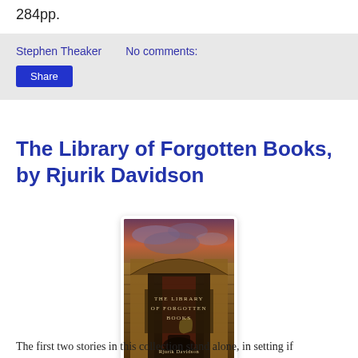284pp.
Stephen Theaker    No comments:
Share
The Library of Forgotten Books, by Rjurik Davidson
[Figure (photo): Book cover of 'The Library of Forgotten Books' by Rjurik Davidson, showing a stone archway building with dramatic cloudy sky, in golden/brown tones. Text on cover reads: THE LIBRARY OF FORGOTTEN BOOKS. Rjurik Davidson.]
The first two stories in this collection stand alone, in setting if